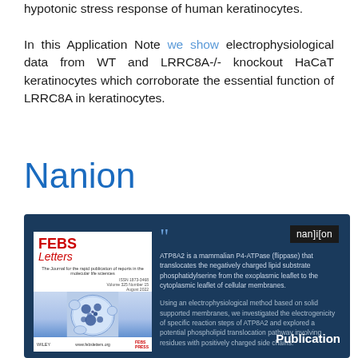hypotonic stress response of human keratinocytes. In this Application Note we show electrophysiological data from WT and LRRC8A-/- knockout HaCaT keratinocytes which corroborate the essential function of LRRC8A in keratinocytes.
Nanion
[Figure (infographic): Dark blue card featuring a FEBS Letters journal cover on the left showing a cell microscopy image, and on the right a quote section describing ATP8A2 as a mammalian P4-ATPase and use of electrophysiological method on solid supported membranes. Nanjilon badge in top right. Publication label at bottom right.]